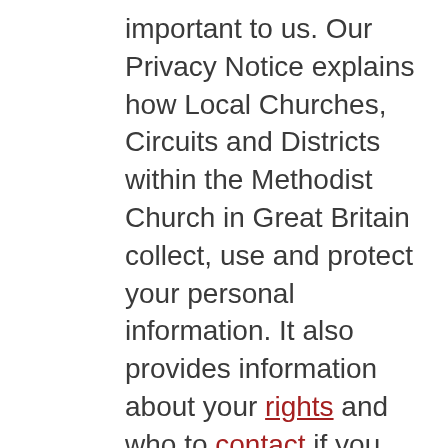important to us. Our Privacy Notice explains how Local Churches, Circuits and Districts within the Methodist Church in Great Britain collect, use and protect your personal information. It also provides information about your rights and who to contact if you have any questions about how we use your information. Click here to read our Privacy Notice online or download a PDF version here. A copy is also displayed on the notice board in the Church Foyer. The Office Administrator will try to deal with any questions as a local point of contact who can be contacted via email;